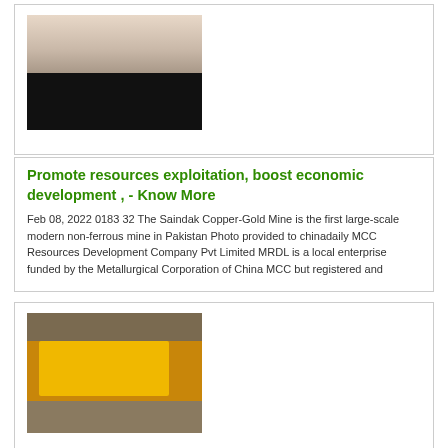[Figure (photo): Landscape photo of the Saindak Copper-Gold Mine, showing a dark foreground and hazy horizon]
Promote resources exploitation, boost economic development , - Know More
Feb 08, 2022 0183 32 The Saindak Copper-Gold Mine is the first large-scale modern non-ferrous mine in Pakistan Photo provided to chinadaily MCC Resources Development Company Pvt Limited MRDL is a local enterprise funded by the Metallurgical Corporation of China MCC but registered and
[Figure (photo): Photo of yellow industrial machinery/equipment on a work site]
PDF Data on Saindak is under - Know More
The payable copper royalty per tonne and gold royalty per ounce for the project should have been declared in the release The company is not only obligated to